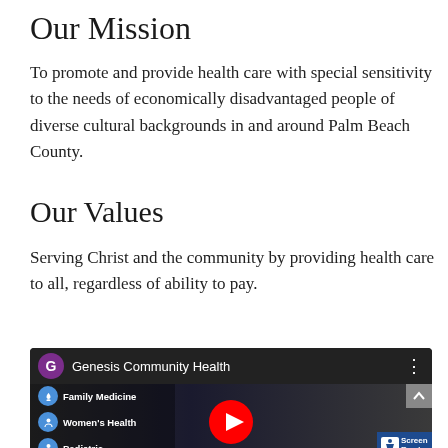Our Mission
To promote and provide health care with special sensitivity to the needs of economically disadvantaged people of diverse cultural backgrounds in and around Palm Beach County.
Our Values
Serving Christ and the community by providing health care to all, regardless of ability to pay.
[Figure (screenshot): YouTube video embed for Genesis Community Health showing Family Medicine, Women's Health, and Pediatric services with a play button overlay and accessibility badge]